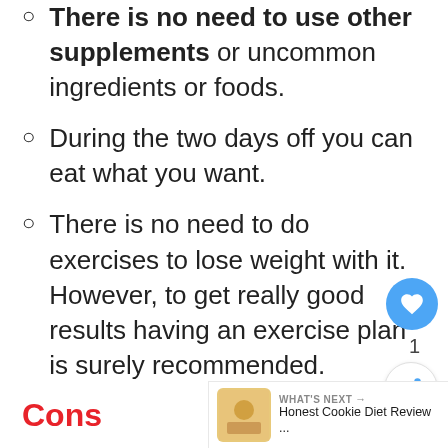There is no need to use other supplements or uncommon ingredients or foods.
During the two days off you can eat what you want.
There is no need to do exercises to lose weight with it. However, to get really good results having an exercise plan is surely recommended.
Cons
Carbohydrates are important parts of a healthy eating plan, especially the complex carbs. This regime cuts them off almost entirely.